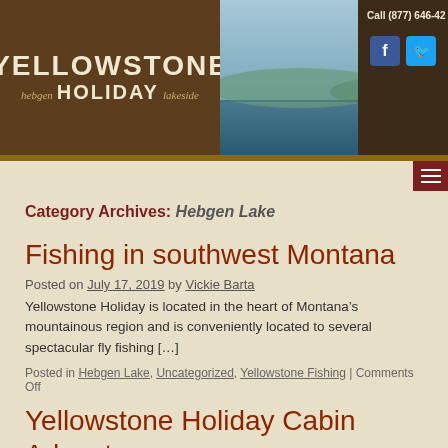[Figure (logo): Yellowstone Holiday logo with 'hebgen HOLIDAY lakeside' text on brown background, next to a lake/mountain photo and social media icons with call number]
Category Archives: Hebgen Lake
Fishing in southwest Montana
Posted on July 17, 2019 by Vickie Barta
Yellowstone Holiday is located in the heart of Montana’s mountainous region and is conveniently located to several spectacular fly fishing […]
Posted in Hebgen Lake, Uncategorized, Yellowstone Fishing | Comments Off
Yellowstone Holiday Cabin Adventure
Posted on January 10, 2019 by Vickie Barta